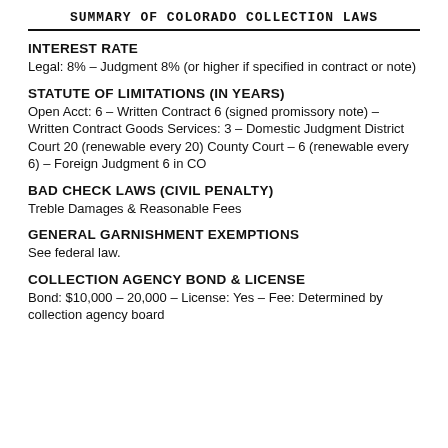SUMMARY OF COLORADO COLLECTION LAWS
INTEREST RATE
Legal: 8% – Judgment 8% (or higher if specified in contract or note)
STATUTE OF LIMITATIONS (IN YEARS)
Open Acct: 6 – Written Contract 6 (signed promissory note) – Written Contract Goods Services: 3 – Domestic Judgment District Court 20 (renewable every 20) County Court – 6 (renewable every 6) – Foreign Judgment 6 in CO
BAD CHECK LAWS (CIVIL PENALTY)
Treble Damages & Reasonable Fees
GENERAL GARNISHMENT EXEMPTIONS
See federal law.
COLLECTION AGENCY BOND & LICENSE
Bond: $10,000 – 20,000 – License: Yes – Fee: Determined by collection agency board